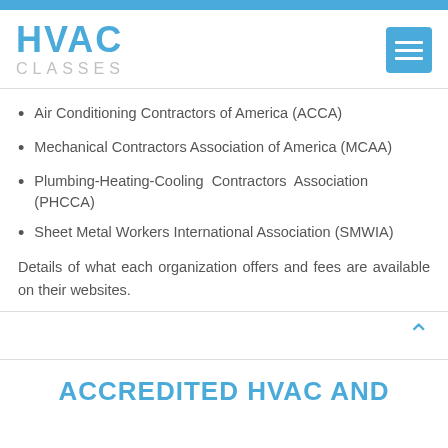[Figure (logo): HVAC Classes logo with blue HVAC text and gray CLASSES text, plus blue hamburger menu icon]
Air Conditioning Contractors of America (ACCA)
Mechanical Contractors Association of America (MCAA)
Plumbing-Heating-Cooling Contractors Association (PHCCA)
Sheet Metal Workers International Association (SMWIA)
Details of what each organization offers and fees are available on their websites.
ACCREDITED HVAC AND